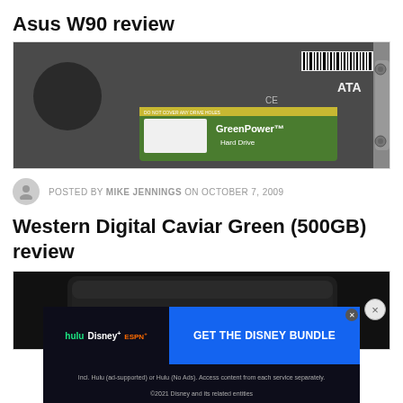Asus W90 review
[Figure (photo): Close-up photo of a Western Digital GreenPower hard drive label showing certification logos and barcode]
POSTED BY MIKE JENNINGS ON OCTOBER 7, 2009
Western Digital Caviar Green (500GB) review
[Figure (photo): Black laptop (Asus) seen from above at an angle on dark background]
[Figure (other): Advertisement banner: GET THE DISNEY BUNDLE featuring Hulu, Disney+, ESPN+. Incl. Hulu (ad-supported) or Hulu (No Ads). Access content from each service separately. ©2021 Disney and its related entities]